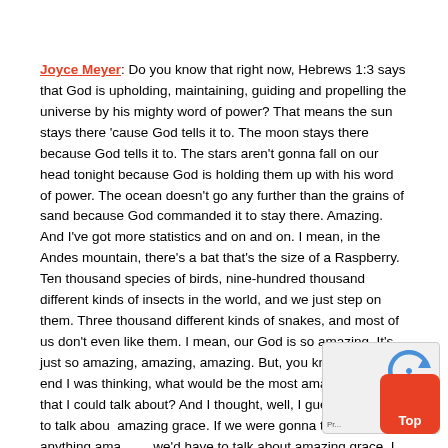Joyce Meyer: Do you know that right now, Hebrews 1:3 says that God is upholding, maintaining, guiding and propelling the universe by his mighty word of power? That means the sun stays there 'cause God tells it to. The moon stays there because God tells it to. The stars aren't gonna fall on our head tonight because God is holding them up with his word of power. The ocean doesn't go any further than the grains of sand because God commanded it to stay there. Amazing. And I've got more statistics and on and on. I mean, in the Andes mountain, there's a bat that's the size of a Raspberry. Ten thousand species of birds, nine-hundred thousand different kinds of insects in the world, and we just step on them. Three thousand different kinds of snakes, and most of us don't even like them. I mean, our God is so amazing. It's just so amazing, amazing, amazing. But, you know, just to end I was thinking, what would be the most amazing thing that I could talk about? And I thought, well, I guess we'd have to talk about amazing grace. If we were gonna talk about anything amazing, we'd have to talk about amazing grace. I guess the only way